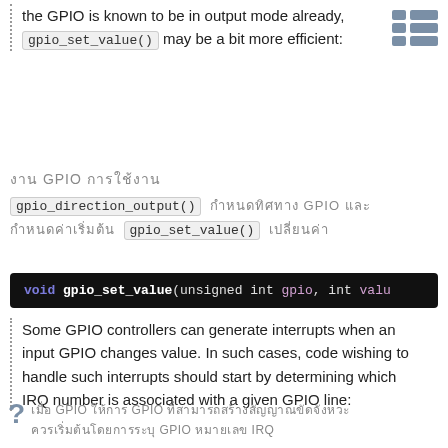the GPIO is known to be in output mode already, gpio_set_value() may be a bit more efficient:
[Thai] GPIO [Thai]
gpio_direction_output() [Thai] GPIO [Thai] gpio_set_value() [Thai]
[Figure (screenshot): Code block: void gpio_set_value(unsigned int gpio, int val...]
Some GPIO controllers can generate interrupts when an input GPIO changes value. In such cases, code wishing to handle such interrupts should start by determining which IRQ number is associated with a given GPIO line:
[Thai question] GPIO [Thai] GPIO [Thai long] GPIO [Thai] IRQ